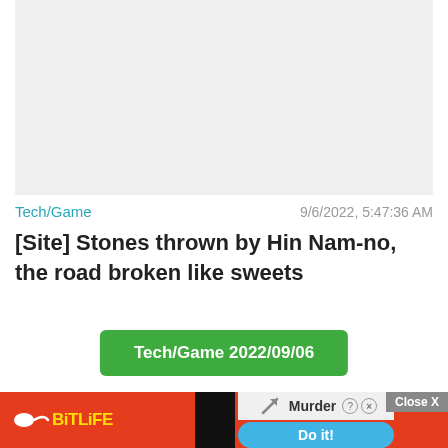[Figure (photo): Gray placeholder image area at top of article]
Tech/Game    9/6/2022, 5:47:36 AM
[Site] Stones thrown by Hin Nam-no, the road broken like sweets
Tech/Game 2022/09/06
Home  News  Business  Sports  Life  Tech  © Communities 2019 - Privacy
[Figure (screenshot): BitLife ad banner at the bottom with Murder / Do it! promotional content and Close X button]